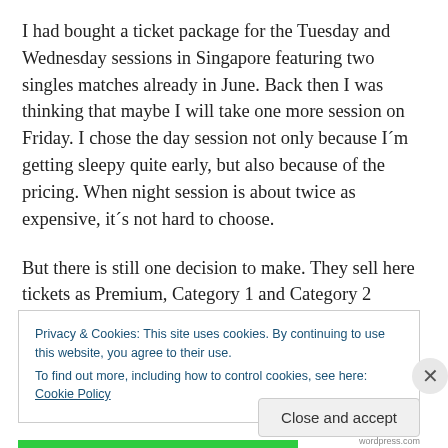I had bought a ticket package for the Tuesday and Wednesday sessions in Singapore featuring two singles matches already in June. Back then I was thinking that maybe I will take one more session on Friday. I chose the day session not only because I´m getting sleepy quite early, but also because of the pricing. When night session is about twice as expensive, it´s not hard to choose.
But there is still one decision to make. They sell here tickets as Premium, Category 1 and Category 2 tickets. As for my pre-bought package, I went for the Premium,
Privacy & Cookies: This site uses cookies. By continuing to use this website, you agree to their use.
To find out more, including how to control cookies, see here: Cookie Policy
Close and accept